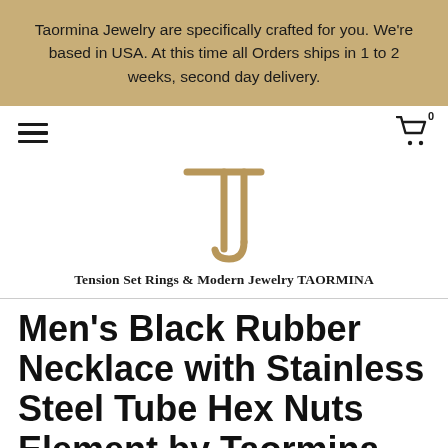Taormina Jewelry are specifically crafted for you. We're based in USA. At this time all Orders ships in 1 to 2 weeks, second day delivery.
[Figure (logo): Taormina Jewelry logo — stylized TJ monogram in gold/tan color]
Tension Set Rings & Modern Jewelry TAORMINA
Men's Black Rubber Necklace with Stainless Steel Tube Hex Nuts Element by Taormina